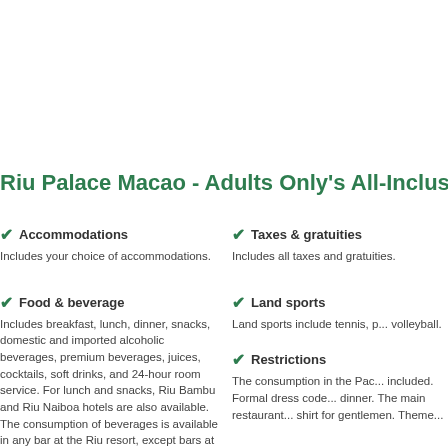Riu Palace Macao - Adults Only's All-Inclusive
Accommodations
Includes your choice of accommodations.
Taxes & gratuities
Includes all taxes and gratuities.
Food & beverage
Includes breakfast, lunch, dinner, snacks, domestic and imported alcoholic beverages, premium beverages, juices, cocktails, soft drinks, and 24-hour room service. For lunch and snacks, Riu Bambu and Riu Naiboa hotels are also available. The consumption of beverages is available in any bar at the Riu resort, except bars at the Riu Palace Bávaro and Riu Palace Punta Cana. In-room minibar
Land sports
Land sports include tennis, p... volleyball.
Restrictions
The consumption in the Pac... included. Formal dress code... dinner. The main restaurant... shirt for gentlemen. Theme...